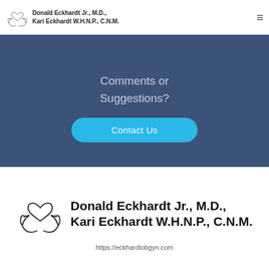Donald Eckhardt Jr., M.D., Kari Eckhardt W.H.N.P., C.N.M.
Comments or Suggestions?
Contact Us
[Figure (logo): Hands forming a heart shape logo for Donald Eckhardt Jr., M.D., Kari Eckhardt W.H.N.P., C.N.M. with clinic name text]
https://eckhardtobgyn.com